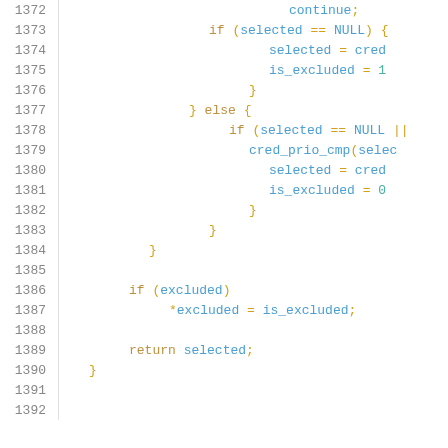[Figure (screenshot): Source code listing showing lines 1372-1392 of a C program with syntax highlighting. Line numbers in grey on left, code in yellow/blue on right. Code shows control flow with continue, if/else blocks, selected and is_excluded variable assignments, cred_prio_cmp function call, and return statement.]